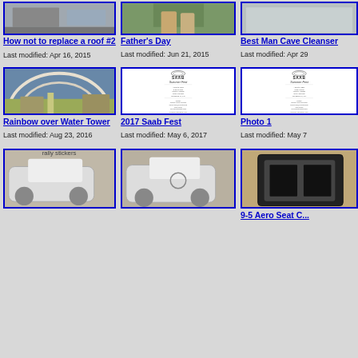[Figure (photo): How not to replace a roof #2 thumbnail]
How not to replace a roof #2
Last modified: Apr 16, 2015
[Figure (photo): Father's Day thumbnail]
Father's Day
Last modified: Jun 21, 2015
[Figure (photo): Best Man Cave Cleanser thumbnail]
Best Man Cave Cleanser
Last modified: Apr 29
[Figure (photo): Rainbow over Water Tower thumbnail]
Rainbow over Water Tower
Last modified: Aug 23, 2016
[Figure (photo): 2017 Saab Fest poster]
2017 Saab Fest
Last modified: May 6, 2017
[Figure (photo): Photo 1 - Saab Fest poster]
Photo 1
Last modified: May 7
[Figure (photo): Car photo 1 - white Saab rally car]
[Figure (photo): Car photo 2 - white Saab rally car side]
[Figure (photo): 9-5 Aero Seat Cover]
9-5 Aero Seat C...